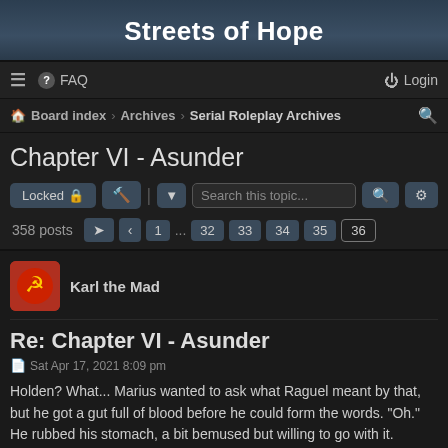Streets of Hope
≡  FAQ  Login
Board index › Archives › Serial Roleplay Archives
Chapter VI - Asunder
Locked 🔒  🔧  |  ▾  Search this topic...  🔍  ⚙  358 posts  ➤  ‹  1 ... 32  33  34  35  36
Karl the Mad
Re: Chapter VI - Asunder
Sat Apr 17, 2021 8:09 pm
Holden? What... Marius wanted to ask what Raguel meant by that, but he got a gut full of blood before he could form the words. "Oh." He rubbed his stomach, a bit bemused but willing to go with it. "Well... I guess that's that, then. My thanks, sir." He sat down to wait for the bitey urge to go away, then stretched and laid down, wondering how he'd manage to sleep with